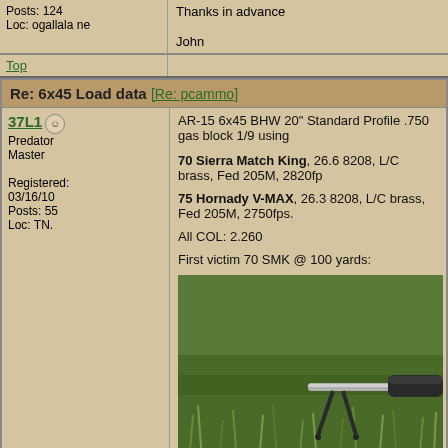Posts: 124
Loc: ogallala ne
Thanks in advance

John
Top
Re: 6x45 Load data [Re: pcammo]
37L1
Predator Master
Registered: 03/16/10
Posts: 55
Loc: TN.
AR-15 6x45 BHW 20" Standard Profile .750 gas block 1/9 using
70 Sierra Match King, 26.6 8208, L/C brass, Fed 205M, 2820fp
75 Hornady V-MAX, 26.3 8208, L/C brass, Fed 205M, 2750fps.
All COL: 2.260
First victim 70 SMK @ 100 yards:
[Figure (photo): Photo of a rifle (AR-15 style) resting on a bipod on grass, showing the barrel and suppressor/muzzle device]